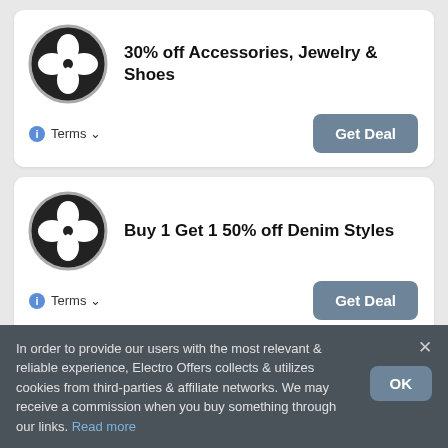[Figure (other): Deal card 1: clover logo circle with text '30% off Accessories, Jewelry & Shoes', Terms link, and Get Deal button]
[Figure (other): Deal card 2: clover logo circle with text 'Buy 1 Get 1 50% off Denim Styles', Terms link, and Get Deal button]
In order to provide our users with the most relevant & reliable experience, Electro Offers collects & utilizes cookies from third-parties & affiliate networks. We may receive a commission when you buy something through our links. Read more